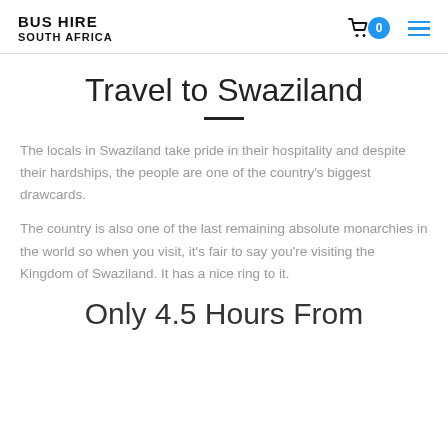BUS HIRE SOUTH AFRICA
Travel to Swaziland
The locals in Swaziland take pride in their hospitality and despite their hardships, the people are one of the country's biggest drawcards.
The country is also one of the last remaining absolute monarchies in the world so when you visit, it's fair to say you're visiting the Kingdom of Swaziland. It has a nice ring to it.
Only 4.5 Hours From